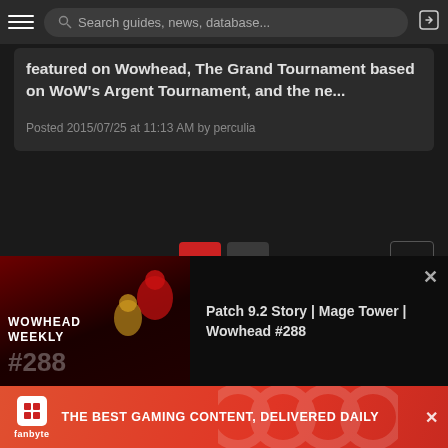Search guides, news, database...
featured on Wowhead, The Grand Tournament based on WoW's Argent Tournament, and the ne...
Posted 2015/07/25 at 11:13 AM by perculia
1  2  >
[Figure (screenshot): Wowhead Weekly #288 banner showing anime-style characters with text 'Patch 9.2 Story | Mage Tower | Wowhead #288']
[Figure (screenshot): Fanbyte advertisement: 'THE BEST GAMING CONTENT, DELIVERED DAILY']